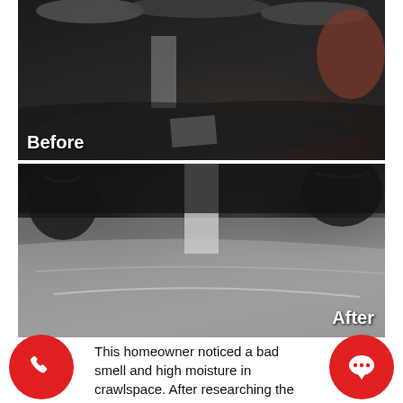[Figure (photo): Before photo: crawlspace interior showing dark, damp floor with black plastic sheeting, pipes overhead, and scattered debris. Label 'Before' in white bold text at bottom-left.]
[Figure (photo): After photo: crawlspace interior showing clean silver/grey encapsulation liner covering the floor with ductwork visible overhead. Label 'After' in white bold text at bottom-right.]
This homeowner noticed a bad smell and high moisture in crawlspace. After researching the issue, they called country Foundation Repair interested in doing anSpace encapsulation. Our team came and installed